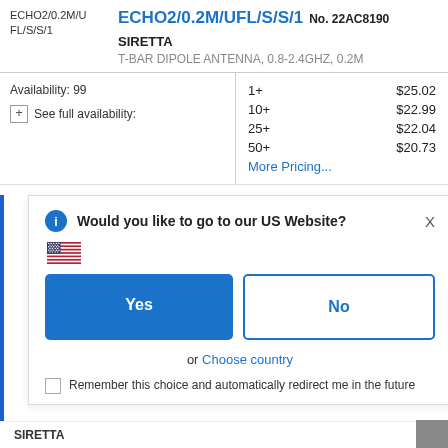ECHO2/0.2M/UFL/S/S/1
ECHO2/0.2M/UFL/S/S/1
No. 22AC8190
SIRETTA
T-BAR DIPOLE ANTENNA, 0.8-2.4GHZ, 0.2M
| Qty | Price |
| --- | --- |
| 1+ | $25.02 |
| 10+ | $22.99 |
| 25+ | $22.04 |
| 50+ | $20.73 |
Availability: 99
See full availability:
More Pricing...
Would you like to go to our US Website?
Yes
No
or Choose country
Remember this choice and automatically redirect me in the future
SIRETTA